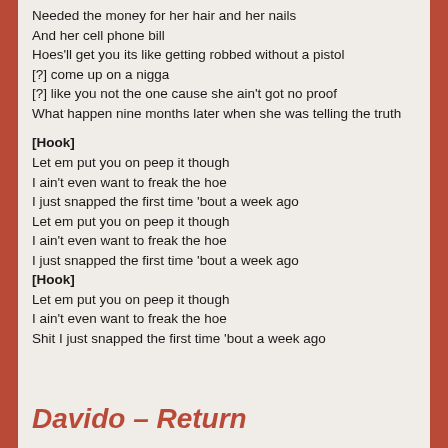Needed the money for her hair and her nails
And her cell phone bill
Hoes'll get you its like getting robbed without a pistol
[?] come up on a nigga
[?] like you not the one cause she ain't got no proof
What happen nine months later when she was telling the truth

[Hook]
Let em put you on peep it though
I ain't even want to freak the hoe
I just snapped the first time 'bout a week ago
Let em put you on peep it though
I ain't even want to freak the hoe
I just snapped the first time 'bout a week ago
[Hook]
Let em put you on peep it though
I ain't even want to freak the hoe
Shit I just snapped the first time 'bout a week ago
Davido – Return